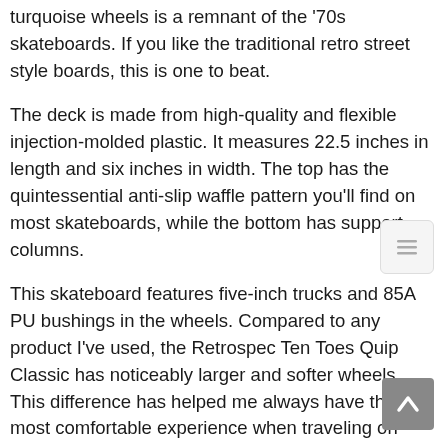turquoise wheels is a remnant of the '70s skateboards. If you like the traditional retro street style boards, this is one to beat.
The deck is made from high-quality and flexible injection-molded plastic. It measures 22.5 inches in length and six inches in width. The top has the quintessential anti-slip waffle pattern you'll find on most skateboards, while the bottom has support columns.
This skateboard features five-inch trucks and 85A PU bushings in the wheels. Compared to any product I've used, the Retrospec Ten Toes Quip Classic has noticeably larger and softer wheels. This difference has helped me always have the most comfortable experience when traveling on rough roads. You don't have to put the trucks or wheels on as it comes ready and assembled out of